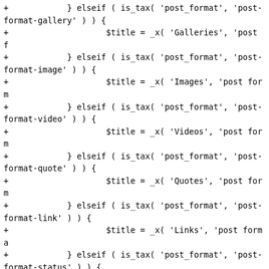Code diff showing PHP elseif blocks for post format taxonomy checks, followed by closing ins and span tags.